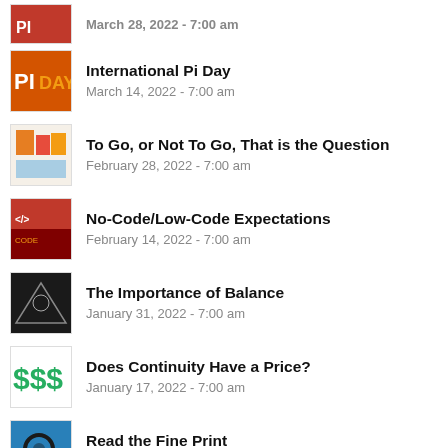International Pi Day
March 14, 2022 - 7:00 am
To Go, or Not To Go, That is the Question
February 28, 2022 - 7:00 am
No-Code/Low-Code Expectations
February 14, 2022 - 7:00 am
The Importance of Balance
January 31, 2022 - 7:00 am
Does Continuity Have a Price?
January 17, 2022 - 7:00 am
Read the Fine Print
January 3, 2022 - 7:00 am
On Your Mark. Get Set ....
December 20, 2021 - 7:00 am
A Picture's Worth ....
December 6, 2021 - 7:00 am
How Do You Get From Here to There?